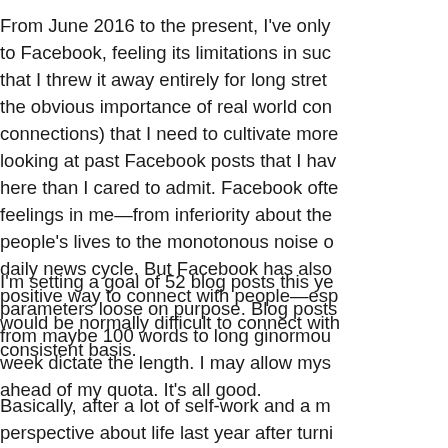From June 2016 to the present, I've only to Facebook, feeling its limitations in such that I threw it away entirely for long stretc the obvious importance of real world con connections) that I need to cultivate more looking at past Facebook posts that I hav here than I cared to admit. Facebook ofte feelings in me—from inferiority about the people's lives to the monotonous noise o daily news cycle. But Facebook has also positive way to connect with people—es would be normally difficult to connect wit consistent basis.
I'm setting a goal of 52 blog posts this ye parameters loose on purpose. Blog posts from maybe 100 words to long ginormou week dictate the length. I may allow mys ahead of my quota. It's all good.
Basically, after a lot of self-work and a m perspective about life last year after turni several problems in this world that I want and inspirationally in these posts: